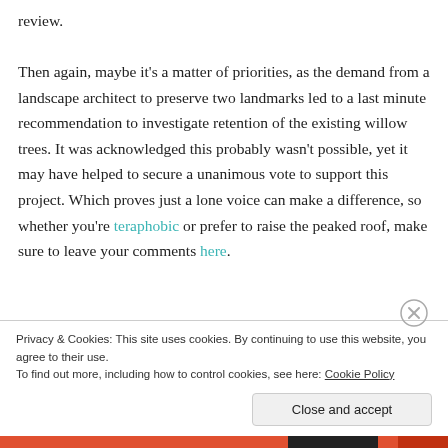review.

Then again, maybe it's a matter of priorities, as the demand from a landscape architect to preserve two landmarks led to a last minute recommendation to investigate retention of the existing willow trees. It was acknowledged this probably wasn't possible, yet it may have helped to secure a unanimous vote to support this project. Which proves just a lone voice can make a difference, so whether you're teraphobic or prefer to raise the peaked roof, make sure to leave your comments here.
Privacy & Cookies: This site uses cookies. By continuing to use this website, you agree to their use.
To find out more, including how to control cookies, see here: Cookie Policy